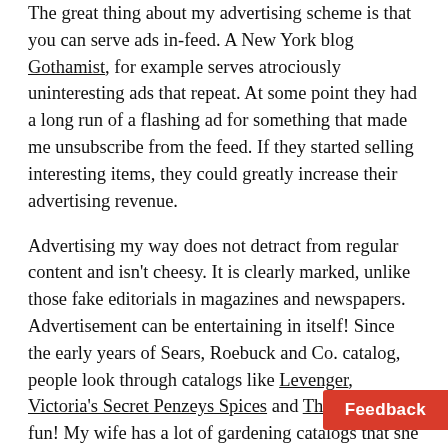The great thing about my advertising scheme is that you can serve ads in-feed. A New York blog Gothamist, for example serves atrociously uninteresting ads that repeat. At some point they had a long run of a flashing ad for something that made me unsubscribe from the feed. If they started selling interesting items, they could greatly increase their advertising revenue.
Advertising my way does not detract from regular content and isn't cheesy. It is clearly marked, unlike those fake editorials in magazines and newspapers. Advertisement can be entertaining in itself! Since the early years of Sears, Roebuck and Co. catalog, people look through catalogs like Levenger, Victoria's Secret Penzeys Spices and Think Geek for fun! My wife has a lot of gardening catalogs that she looks through now and then. After finishing an interesting post, readers would not mind learning about an interesting product or book they might want. In fact, they m... ...ne in the